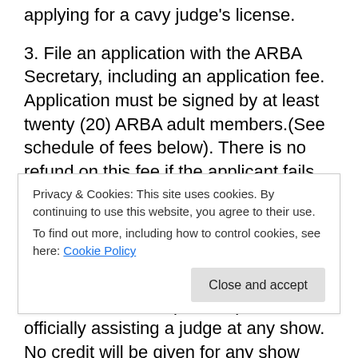applying for a cavy judge's license.
3. File an application with the ARBA Secretary, including an application fee. Application must be signed by at least twenty (20) ARBA adult members.(See schedule of fees below). There is no refund on this fee if the applicant fails the exam.
4. Complete examination, both written and oral, as soon as possible after making application. The examination must be taken and passed prior to officially assisting a judge at any show. No credit will be given for any show
Privacy & Cookies: This site uses cookies. By continuing to use this website, you agree to their use.
To find out more, including how to control cookies, see here: Cookie Policy
Close and accept